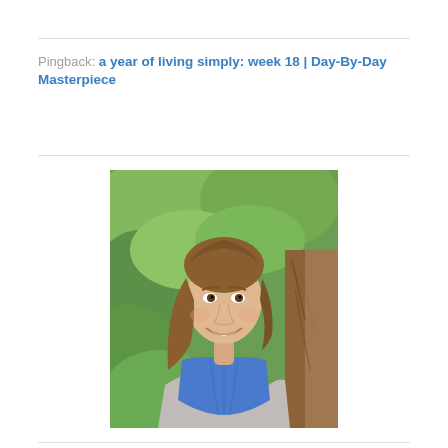Pingback: a year of living simply: week 18 | Day-By-Day Masterpiece
[Figure (photo): Portrait photo of a smiling young woman with long brown hair, wearing a blue top and grey cardigan, standing near a tree with green foliage in the background.]